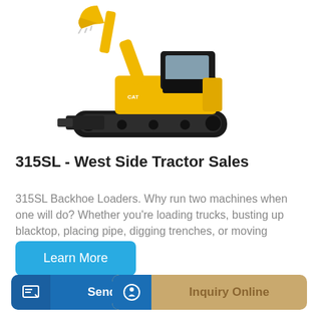[Figure (photo): Yellow mini excavator / backhoe loader with black tracks and bucket raised, white background]
315SL - West Side Tractor Sales
315SL Backhoe Loaders. Why run two machines when one will do? Whether you're loading trucks, busting up blacktop, placing pipe, digging trenches, or moving materials, an L-...
Learn More
Send Message
Inquiry Online